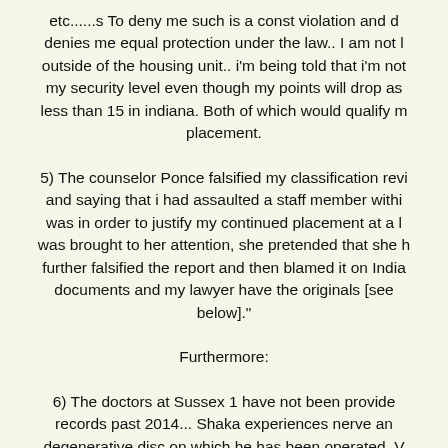etc......s To deny me such is a const violation and d denies me equal protection under the law.. I am not l outside of the housing unit.. i'm being told that i'm not my security level even though my points will drop as less than 15 in indiana. Both of which would qualify m placement.
5) The counselor Ponce falsified my classification revi and saying that i had assaulted a staff member withi was in order to justify my continued placement at a l was brought to her attention, she pretended that she h further falsified the report and then blamed it on India documents and my lawyer have the originals [see below]."
Furthermore:
6) The doctors at Sussex 1 have not been provide records past 2014... Shaka experiences nerve an degenerative disc on which he has been operated. V cannot be provided with the necessary care for